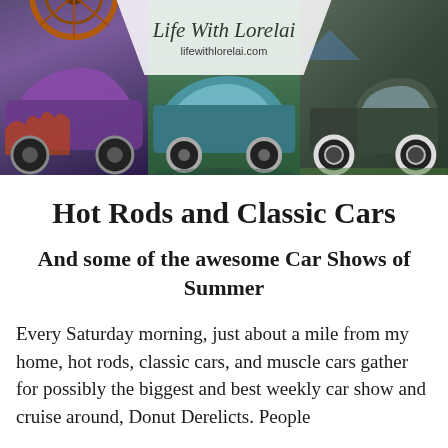[Figure (photo): Blog header banner for 'Life With Lorelai' (lifewithlorelai.com) showing a collage of classic cars and hot rods — a purple hot rod on the left, a teal classic car in the center, and a dark green vintage pickup truck on the right. A white semi-transparent logo overlay with script text sits at the top center.]
Hot Rods and Classic Cars
And some of the awesome Car Shows of Summer
Every Saturday morning, just about a mile from my home, hot rods, classic cars, and muscle cars gather for possibly the biggest and best weekly car show and cruise around, Donut Derelicts. People